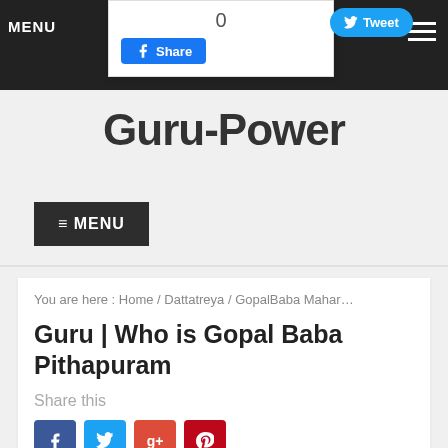MENU
[Figure (screenshot): Social share popup card with share count '0', Facebook Share button, and Tweet button]
Guru-Power
≡ MENU
You are here : Home / Dattatreya / GopalBaba Mahar…
Guru | Who is Gopal Baba Pithapuram
Share this
[Figure (screenshot): Social share icon buttons: Facebook (blue), Twitter (light blue), Google+ (red), Pinterest (dark red)]